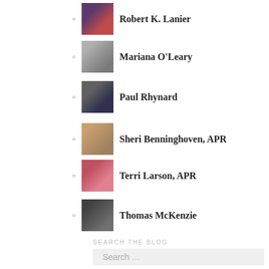Robert K. Lanier
Mariana O'Leary
Paul Rhynard
Sheri Benninghoven, APR
Terri Larson, APR
Thomas McKenzie
SEARCH THE BLOG
Search …
TRANSLATE THE BLOG INTO THESE LANGUAGES (AND MORE) BY CLICKING BELOW:
Afrikaans
French
German